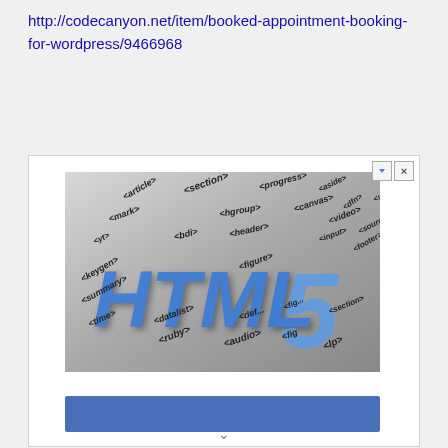http://codecanyon.net/item/booked-appointment-booking-for-wordpress/9466968
[Figure (screenshot): HTML5 advertisement banner showing 3D HTML5 text with various HTML5 tags floating around it, followed by a blue button bar below]